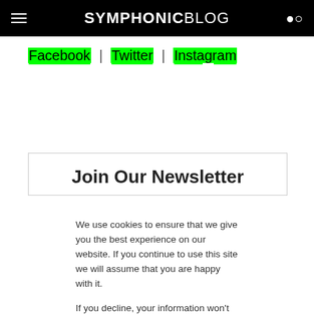SYMPHONIC BLOG
Facebook | Twitter | Instagram
Join Our Newsletter
We use cookies to ensure that we give you the best experience on our website. If you continue to use this site we will assume that you are happy with it.
If you decline, your information won't be tracked when you visit this website. A single cookie will be used in your browser to remember your preference not to be tracked.
Allow cookies | Decline